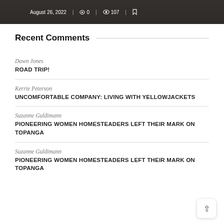[Figure (photo): Dark image strip showing August 26, 2022 date with comment count 0, view count 107, and bookmark icon overlay on a dark background photo]
Recent Comments
Dawn Jones
ROAD TRIP!
Kerrie Peterson
UNCOMFORTABLE COMPANY: LIVING WITH YELLOWJACKETS
Suzanne Guldimann
PIONEERING WOMEN HOMESTEADERS LEFT THEIR MARK ON TOPANGA
Suzanne Guldimann
PIONEERING WOMEN HOMESTEADERS LEFT THEIR MARK ON TOPANGA